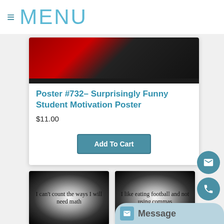≡ MENU
[Figure (photo): Poster thumbnail with red and black design, partially visible]
Poster #732– Surprisingly Funny Student Motivation Poster
$11.00
Add To Cart
[Figure (photo): Black poster with radial glow, text reads: I can't count the ways I will need math]
[Figure (photo): Black poster with radial glow, text reads: I like eating football and not using commas]